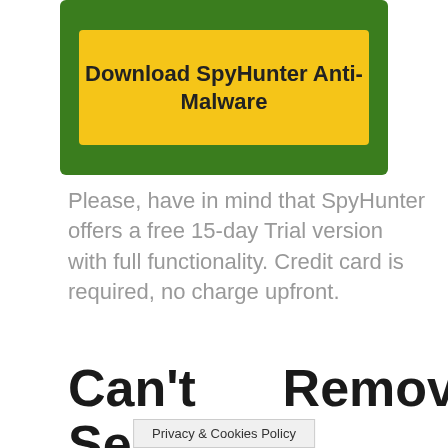[Figure (other): Green bordered box containing a yellow download button labeled 'Download SpyHunter Anti-Malware']
Please, have in mind that SpyHunter offers a free 15-day Trial version with full functionality. Credit card is required, no charge upfront.
Can't Remove Searchlee from my Safari? This page includes detailed
Privacy & Cookies Policy